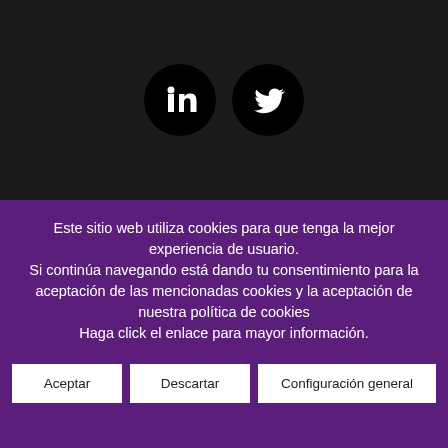[Figure (illustration): Two social media icons on black background: LinkedIn (in) and Twitter (bird) as white icons inside black circles]
Este sitio web utiliza cookies para que tenga la mejor experiencia de usuario.
Si continúa navegando está dando tu consentimiento para la aceptación de las mencionadas cookies y la aceptación de nuestra política de cookies
Haga click el enlace para mayor información.
Aceptar
Descartar
Configuración general